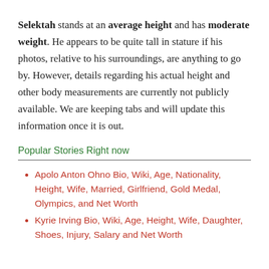Selektah stands at an average height and has moderate weight. He appears to be quite tall in stature if his photos, relative to his surroundings, are anything to go by. However, details regarding his actual height and other body measurements are currently not publicly available. We are keeping tabs and will update this information once it is out.
Popular Stories Right now
Apolo Anton Ohno Bio, Wiki, Age, Nationality, Height, Wife, Married, Girlfriend, Gold Medal, Olympics, and Net Worth
Kyrie Irving Bio, Wiki, Age, Height, Wife, Daughter, Shoes, Injury, Salary and Net Worth